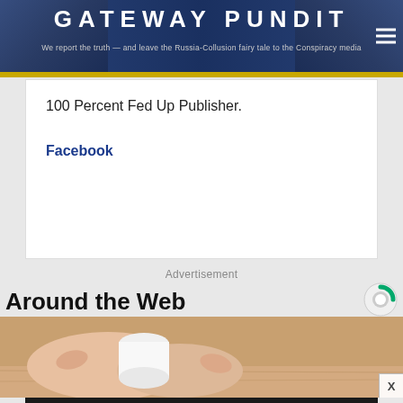GATEWAY PUNDIT — We report the truth — and leave the Russia-Collusion fairy tale to the Conspiracy media
100 Percent Fed Up Publisher.
Facebook
Advertisement
Around the Web
[Figure (photo): Hand holding a white object on a wooden surface]
Advertisement
[Figure (photo): Capitol Punishment advertisement - Join over 65,000 other people who learned the truth about the January 6th Capitol. Watch Now. Pro-Trump Mobs Storm US Capitol.]